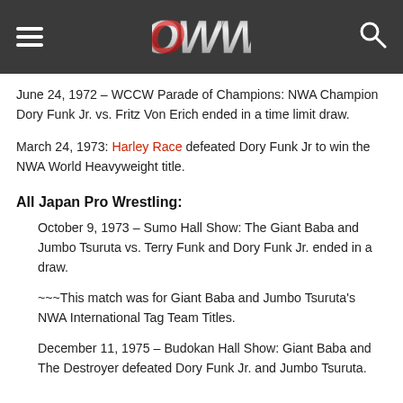OWW
June 24, 1972 – WCCW Parade of Champions: NWA Champion Dory Funk Jr. vs. Fritz Von Erich ended in a time limit draw.
March 24, 1973: Harley Race defeated Dory Funk Jr to win the NWA World Heavyweight title.
All Japan Pro Wrestling:
October 9, 1973 – Sumo Hall Show: The Giant Baba and Jumbo Tsuruta vs. Terry Funk and Dory Funk Jr. ended in a draw.
~~~This match was for Giant Baba and Jumbo Tsuruta's NWA International Tag Team Titles.
December 11, 1975 – Budokan Hall Show: Giant Baba and The Destroyer defeated Dory Funk Jr. and Jumbo Tsuruta.